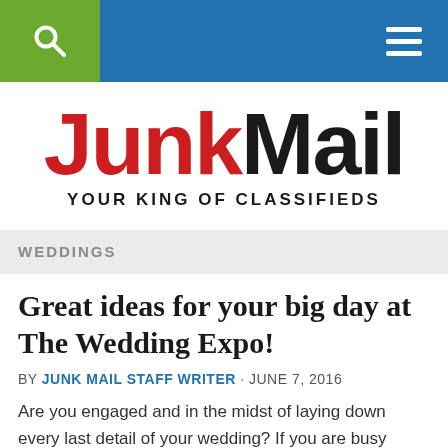Junk Mail – Your King of Classifieds – navigation bar with search and menu icons
[Figure (logo): JunkMail logo: 'Junk' in red bold, 'Mail' in black bold, tagline 'YOUR KING OF CLASSIFIEDS' below in black]
WEDDINGS
Great ideas for your big day at The Wedding Expo!
BY JUNK MAIL STAFF WRITER · JUNE 7, 2016
Are you engaged and in the midst of laying down every last detail of your wedding? If you are busy planning your special day be sure not